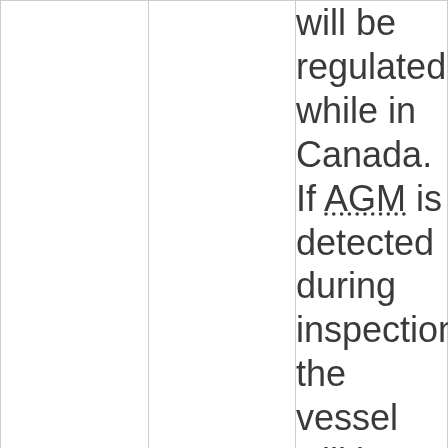will be regulated while in Canada. If AGM is detected during inspection, the vessel will be considered non-compliant, and ordered removed from Canada.